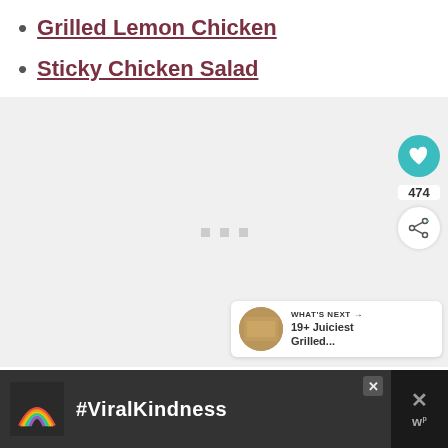Grilled Lemon Chicken
Sticky Chicken Salad
[Figure (photo): Large image placeholder area with loading dots, heart/like button showing 474 likes, share button, and 'WHAT'S NEXT' panel showing '19+ Juiciest Grilled...']
[Figure (infographic): Advertisement banner showing a rainbow graphic with #ViralKindness text on dark background, with close button and W logo]